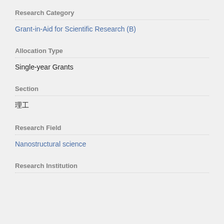Research Category
Grant-in-Aid for Scientific Research (B)
Allocation Type
Single-year Grants
Section
理工
Research Field
Nanostructural science
Research Institution